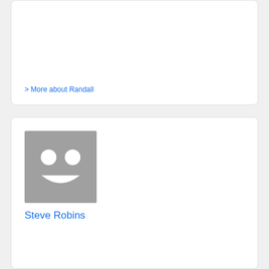> More about Randall
[Figure (illustration): Generic gray person/avatar placeholder image with smiley face icon]
Steve Robins